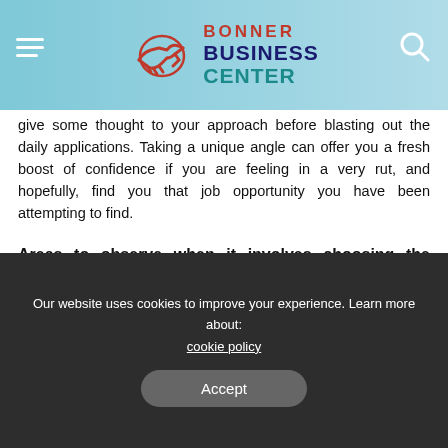Bonner Business Center
give some thought to your approach before blasting out the daily applications. Taking a unique angle can offer you a fresh boost of confidence if you are feeling in a very rut, and hopefully, find you that job opportunity you have been attempting to find.
Areas to observe when it involves choosing the proper company:
Take control of your job search by learning a way to penetrate the unadvertised job market
Our website uses cookies to improve your experience. Learn more about: cookie policy
Accept